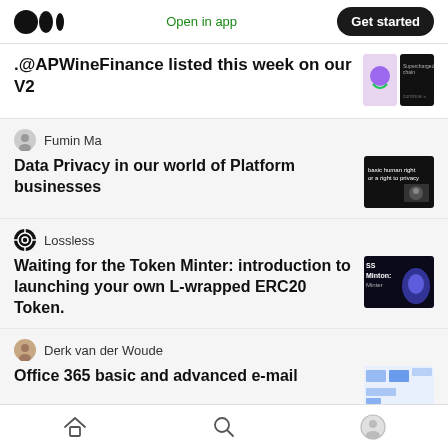Open in app | Get started
.@APWineFinance listed this week on our V2
Fumin Ma
Data Privacy in our world of Platform businesses
Lossless
Waiting for the Token Minter: introduction to launching your own L-wrapped ERC20 Token.
Derk van der Woude
Office 365 basic and advanced e-mail
Home | Search | Profile